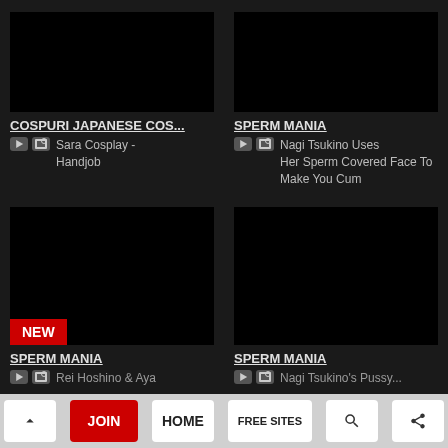[Figure (screenshot): Black thumbnail image for Cospuri Japanese Cos... video]
COSPURI JAPANESE COS...
Sara Cosplay - Handjob
[Figure (screenshot): Black thumbnail image for Sperm Mania video]
SPERM MANIA
Nagi Tsukino Uses Her Sperm Covered Face To Make You Cum
[Figure (screenshot): Black thumbnail image with NEW badge for Sperm Mania video]
SPERM MANIA
Rei Hoshino & Aya...
[Figure (screenshot): Black thumbnail image for Sperm Mania video]
SPERM MANIA
Nagi Tsukino's Pussy...
^ JOIN HOME FREE SITES search share